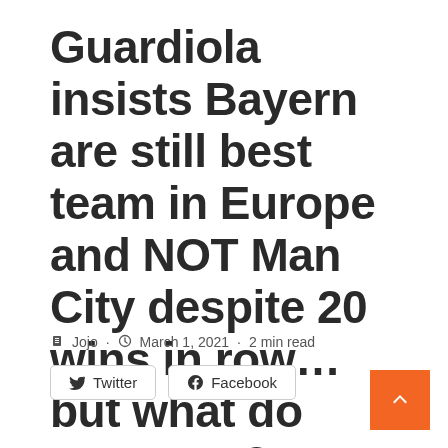Guardiola insists Bayern are still best team in Europe and NOT Man City despite 20 wins in row... but what do stats say?
Jojo · March 1, 2021 · 2 min read
Twitter  Facebook